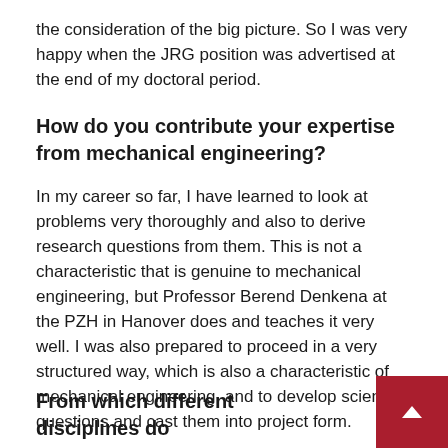the consideration of the big picture. So I was very happy when the JRG position was advertised at the end of my doctoral period.
How do you contribute your expertise from mechanical engineering?
In my career so far, I have learned to look at problems very thoroughly and also to derive research questions from them. This is not a characteristic that is genuine to mechanical engineering, but Professor Berend Denkena at the PZH in Hanover does and teaches it very well. I was also prepared to proceed in a very structured way, which is also a characteristic of mechanical engineering, and to develop scientific questions and cast them into project form.
From which different disciplines do